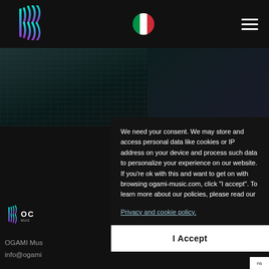[Figure (logo): OGAMI Music logo - sound wave arcs in teal/purple gradient - header]
[Figure (logo): Italian flag circle icon]
[Figure (logo): Hamburger menu icon - three white horizontal lines]
[Figure (photo): Hero image background - dark music equipment scene]
[Figure (logo): OGAMI Music logo with text in footer area]
We need your consent. We may store and access personal data like cookies or IP address on your device and process such data to personalize your experience on our website. If you’re ok with this and want to get on with browsing ogami-music.com, click “I accept”. To learn more about our policies, please read our
Privacy and cookie policy.
I Accept
OGAMI Mus
info@ogami